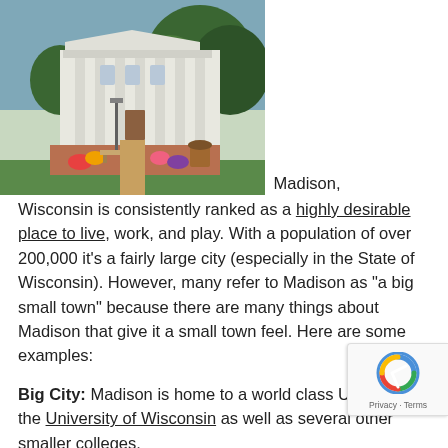[Figure (photo): Photo of a white government/university building with large columns and trees in foreground, with a courtyard/brick plaza visible]
Madison, Wisconsin is consistently ranked as a highly desirable place to live, work, and play. With a population of over 200,000 it's a fairly large city (especially in the State of Wisconsin). However, many refer to Madison as "a big small town" because there are many things about Madison that give it a small town feel. Here are some examples:
Big City: Madison is home to a world class University in the University of Wisconsin as well as several other smaller colleges.
Small Town: Madison has one of the top ranked Farmers'